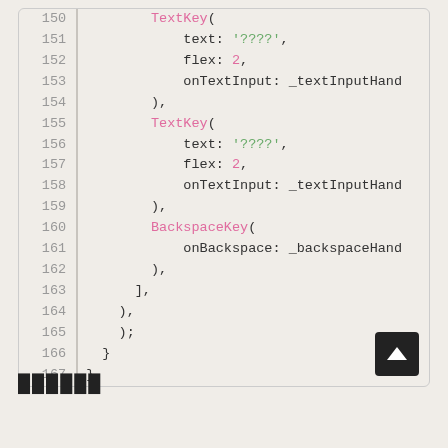[Figure (screenshot): Code editor screenshot showing lines 150–167 of source code with syntax highlighting. Line numbers in grey, keywords in pink, strings in green, punctuation in dark.]
██████